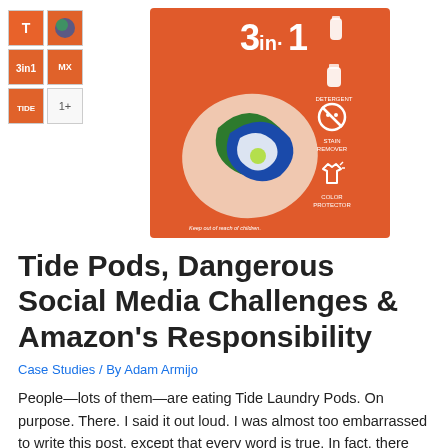[Figure (photo): Tide Pods 3-in-1 laundry detergent product image on orange background showing a single pod with detergent, stain remover, and color protector labels. Includes smaller thumbnail product images on the left.]
Tide Pods, Dangerous Social Media Challenges & Amazon's Responsibility
Case Studies / By Adam Armijo
People—lots of them—are eating Tide Laundry Pods. On purpose. There. I said it out loud. I was almost too embarrassed to write this post, except that every word is true. In fact, there were 12,000 Poison Control calls for people ingesting laundry pods in